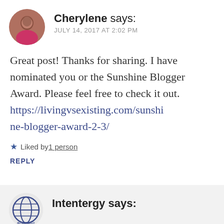[Figure (photo): Circular avatar photo of Cherylene, a person wearing a pink top]
Cherylene says:
JULY 14, 2017 AT 2:02 PM
Great post! Thanks for sharing. I have nominated you or the Sunshine Blogger Award. Please feel free to check it out. https://livingvsexisting.com/sunshine-blogger-award-2-3/
★ Liked by 1 person
REPLY
[Figure (logo): Circular logo for Intentergy showing a globe grid pattern with 'INTENTERGY' text]
Intentergy says: